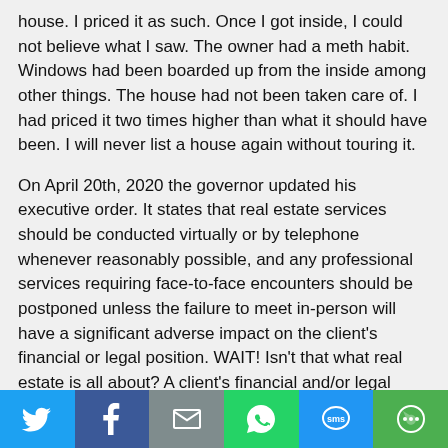house. I priced it as such. Once I got inside, I could not believe what I saw. The owner had a meth habit. Windows had been boarded up from the inside among other things. The house had not been taken care of. I had priced it two times higher than what it should have been. I will never list a house again without touring it.
On April 20th, 2020 the governor updated his executive order. It states that real estate services should be conducted virtually or by telephone whenever reasonably possible, and any professional services requiring face-to-face encounters should be postponed unless the failure to meet in-person will have a significant adverse impact on the client's financial or legal position. WAIT! Isn't that what real estate is all about? A client's financial and/or legal position?
So how was this coronavirus thing going to affect the real estate business? I started reading trade reports and Facebook trade groups on
[Figure (infographic): Social media share bar with six buttons: Twitter (light blue), Facebook (dark blue), Email (gray), WhatsApp (green), SMS (blue), More (green)]